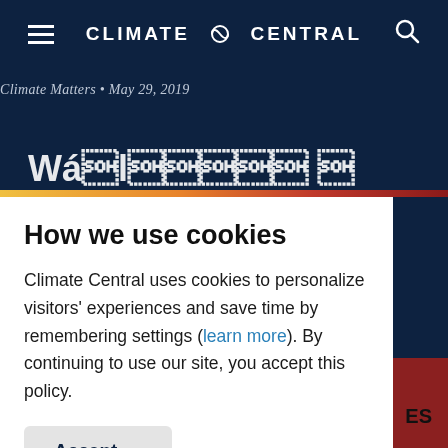CLIMATE ∞ CENTRAL
Climate Matters • May 29, 2019
How we use cookies
Climate Central uses cookies to personalize visitors' experiences and save time by remembering settings (learn more). By continuing to use our site, you accept this policy.
Accept →
ES